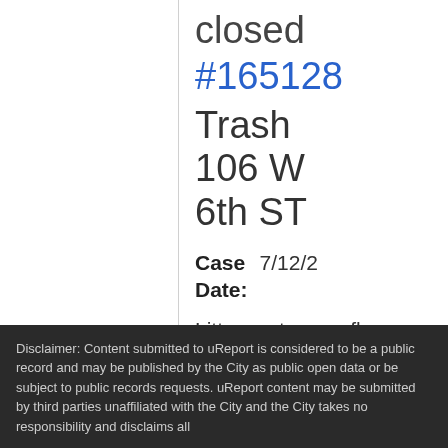closed
#165128
Trash
106 W 6th ST
Case Date: 7/12/2...
Litter, water overflow, dumpster overflow in alley behind.
1
Disclaimer: Content submitted to uReport is considered to be a public record and may be published by the City as public open data or be subject to public records requests. uReport content may be submitted by third parties unaffiliated with the City and the City takes no responsibility and disclaims all